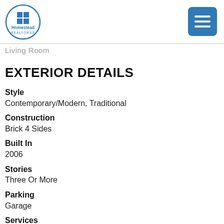[Figure (logo): Homestead Realtors logo in a circle with a grid window icon]
Living Room
EXTERIOR DETAILS
Style
Contemporary/Modern, Traditional
Construction
Brick 4 Sides
Built In
2006
Stories
Three Or More
Parking
Garage
Services
Dog Park, Near Beltline, Near Marta, Near Schools, Near Shopping, Playground, Public